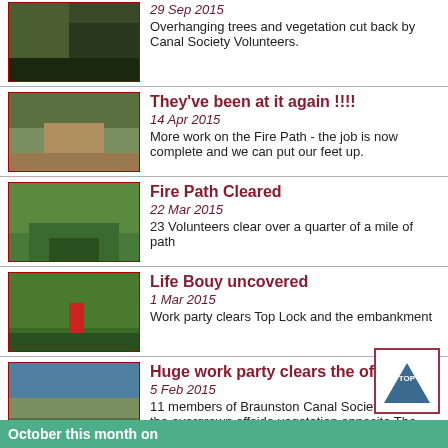[Figure (photo): Thumbnail photo of overhanging trees and vegetation]
29 Sep 2015
Overhanging trees and vegetation cut back by Canal Society Volunteers.
[Figure (photo): Thumbnail photo of fire path - dirt track between vegetation]
They've been at it again !!!!
14 Apr 2015
More work on the Fire Path - the job is now complete and we can put our feet up.
[Figure (photo): Thumbnail photo of overgrown grass path]
Fire Path Cleared
22 Mar 2015
23 Volunteers clear over a quarter of a mile of path
[Figure (photo): Thumbnail photo of overgrown area with life bouy sign]
Life Bouy uncovered
1 Mar 2015
Work party clears Top Lock and the embankment
[Figure (photo): Thumbnail photo of canal with offside vegetation]
Huge work party clears the offside
5 Feb 2015
11 members of Braunston Canal Society cleared the overgrown offside vegetation opposite The Stop House.
October this month on